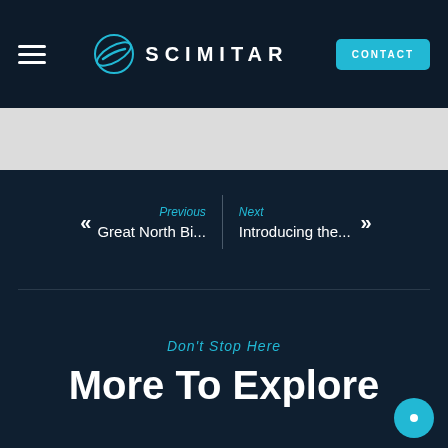SCIMITAR — CONTACT
Previous
Great North Bi...
Next
Introducing the...
Don't Stop Here
More To Explore